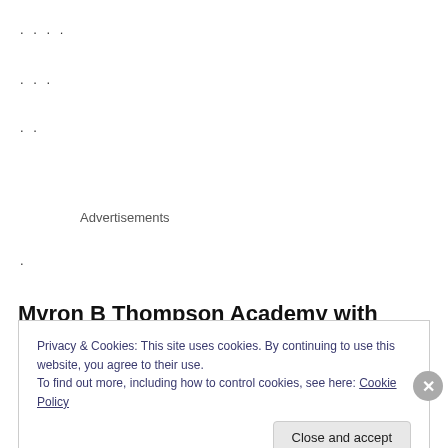....
...
..
Advertisements
.
Myron B Thompson Academy with “Life In the Fast
Privacy & Cookies: This site uses cookies. By continuing to use this website, you agree to their use.
To find out more, including how to control cookies, see here: Cookie Policy
Close and accept